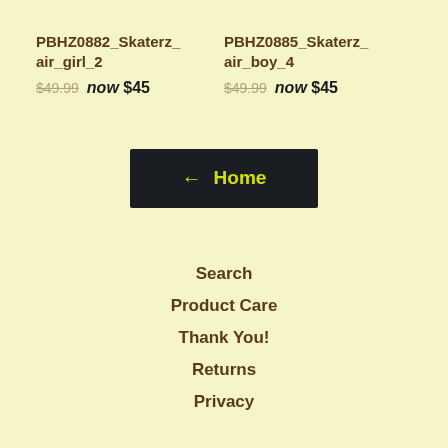PBHZ0882_Skaterz_air_girl_2
$49.99 now $45
PBHZ0885_Skaterz_air_boy_4
$49.99 now $45
← Home
Search
Product Care
Thank You!
Returns
Privacy